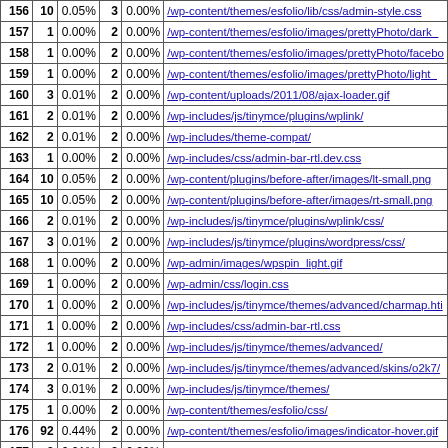| # | Visits | % | Pages | % | URL |
| --- | --- | --- | --- | --- | --- |
| 156 | 10 | 0.05% | 3 | 0.00% | /wp-content/themes/esfolio/lib/css/admin-style.css |
| 157 | 1 | 0.00% | 2 | 0.00% | /wp-content/themes/esfolio/images/prettyPhoto/dark_... |
| 158 | 1 | 0.00% | 2 | 0.00% | /wp-content/themes/esfolio/images/prettyPhoto/facebo... |
| 159 | 1 | 0.00% | 2 | 0.00% | /wp-content/themes/esfolio/images/prettyPhoto/light_... |
| 160 | 3 | 0.01% | 2 | 0.00% | /wp-content/uploads/2011/08/ajax-loader.gif |
| 161 | 2 | 0.01% | 2 | 0.00% | /wp-includes/js/tinymce/plugins/wplink/ |
| 162 | 2 | 0.01% | 2 | 0.00% | /wp-includes/theme-compat/ |
| 163 | 1 | 0.00% | 2 | 0.00% | /wp-includes/css/admin-bar-rtl.dev.css |
| 164 | 10 | 0.05% | 2 | 0.00% | /wp-content/plugins/before-after/images/lt-small.png |
| 165 | 10 | 0.05% | 2 | 0.00% | /wp-content/plugins/before-after/images/rt-small.png |
| 166 | 2 | 0.01% | 2 | 0.00% | /wp-includes/js/tinymce/plugins/wplink/css/ |
| 167 | 3 | 0.01% | 2 | 0.00% | /wp-includes/js/tinymce/plugins/wordpress/css/ |
| 168 | 1 | 0.00% | 2 | 0.00% | /wp-admin/images/wpspin_light.gif |
| 169 | 1 | 0.00% | 2 | 0.00% | /wp-admin/css/login.css |
| 170 | 1 | 0.00% | 2 | 0.00% | /wp-includes/js/tinymce/themes/advanced/charmap.htm... |
| 171 | 1 | 0.00% | 2 | 0.00% | /wp-includes/css/admin-bar-rtl.css |
| 172 | 1 | 0.00% | 2 | 0.00% | /wp-includes/js/tinymce/themes/advanced/ |
| 173 | 2 | 0.01% | 2 | 0.00% | /wp-includes/js/tinymce/themes/advanced/skins/o2k7/... |
| 174 | 3 | 0.01% | 2 | 0.00% | /wp-includes/js/tinymce/themes/ |
| 175 | 1 | 0.00% | 2 | 0.00% | /wp-content/themes/esfolio/css/ |
| 176 | 92 | 0.44% | 2 | 0.00% | /wp-content/themes/esfolio/images/indicator-hover.gif... |
| 177 | 2 | 0.01% | 2 | 0.00% | /wp-includes/js/tinymce/plugins/inlinepopups/ |